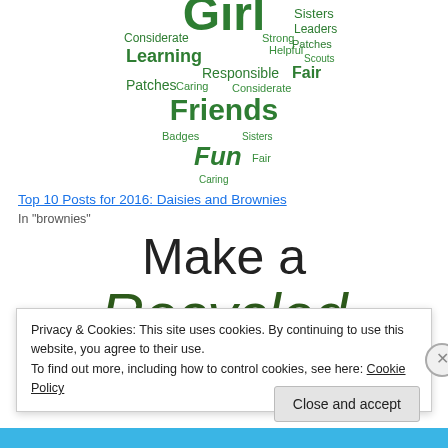[Figure (illustration): Girl Scout word cloud in the shape of a clover/flower, with green text words including Girl, Sisters, Leaders, Considerate, Learning, Responsible, Patches, Friends, Badges, Fun, Fair, Caring, and others.]
Top 10 Posts for 2016: Daisies and Brownies
In "brownies"
Make a Recycled Reindeer
Privacy & Cookies: This site uses cookies. By continuing to use this website, you agree to their use.
To find out more, including how to control cookies, see here: Cookie Policy
Close and accept